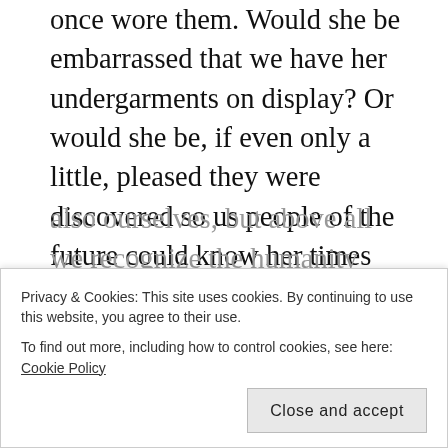once wore them. Would she be embarrassed that we have her undergarments on display? Or would she be, if even only a little, pleased they were discovered so us people of the future could know her times were “civilized”? That in their day they had items and ideas as modern as could be achieved at the time? That they had nice things too.
Also through word etymology, poetry and ways people found to have fun, Mount guides us through medieval England in a manner unlike any book on the topic I
also ourselves, but above all we recognize the humanity
Privacy & Cookies: This site uses cookies. By continuing to use this website, you agree to their use.
To find out more, including how to control cookies, see here: Cookie Policy